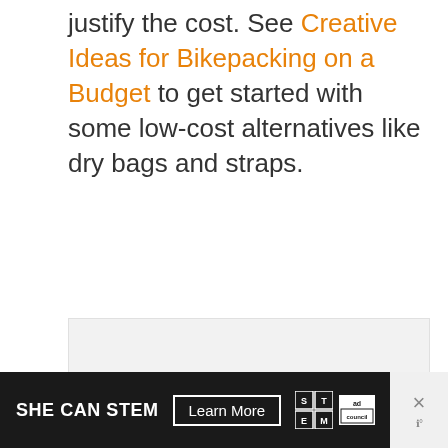justify the cost. See Creative Ideas for Bikepacking on a Budget to get started with some low-cost alternatives like dry bags and straps.
[Figure (other): Advertisement placeholder box with the word ADVERTISEMENT centered in light gray text on a light gray background.]
[Figure (other): Banner advertisement for SHE CAN STEM campaign with dark background, white bold text reading SHE CAN STEM, a Learn More button, STEM logo tiles, Ad Council logo, and a close (X) button on the right side.]